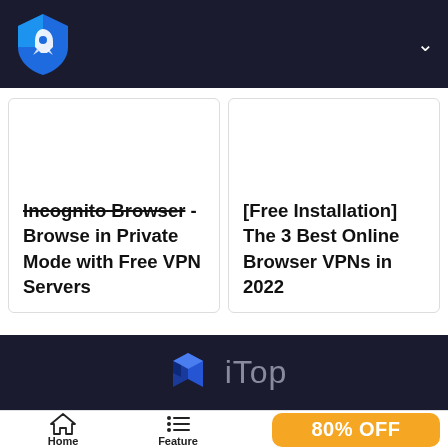[Figure (logo): iTop VPN shield logo with rocket icon in teal/blue on dark navy navigation bar]
Incognito Browser - Browse in Private Mode with Free VPN Servers
[Free Installation] The 3 Best Online Browser VPNs in 2022
[Figure (logo): iTop logo with blue 3D hexagon/cube icon and gray 'iTop' text on dark navy background]
[Figure (illustration): Home icon (house outline)]
Home
[Figure (illustration): Feature list icon (lines with dots)]
Feature
80% OFF